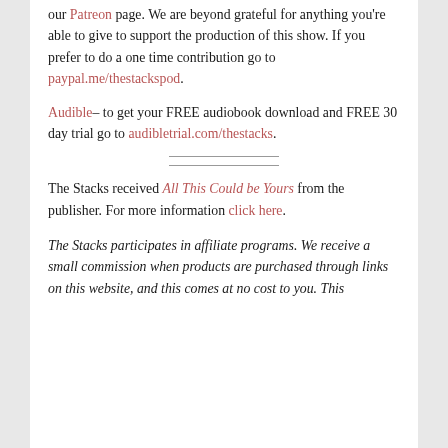our Patreon page. We are beyond grateful for anything you're able to give to support the production of this show. If you prefer to do a one time contribution go to paypal.me/thestackspod.
Audible– to get your FREE audiobook download and FREE 30 day trial go to audibletrial.com/thestacks.
The Stacks received All This Could be Yours from the publisher. For more information click here.
The Stacks participates in affiliate programs. We receive a small commission when products are purchased through links on this website, and this comes at no cost to you. This